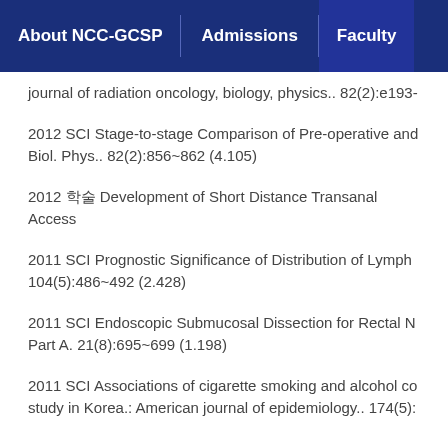About NCC-GCSP | Admissions | Faculty
journal of radiation oncology, biology, physics.. 82(2):e193-
2012 SCI Stage-to-stage Comparison of Pre-operative and Biol. Phys.. 82(2):856~862 (4.105)
2012 학술 Development of Short Distance Transanal Access
2011 SCI Prognostic Significance of Distribution of Lymph 104(5):486~492 (2.428)
2011 SCI Endoscopic Submucosal Dissection for Rectal N Part A. 21(8):695~699 (1.198)
2011 SCI Associations of cigarette smoking and alcohol co study in Korea.: American journal of epidemiology.. 174(5):